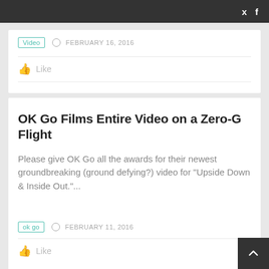Twitter | Facebook
Video   FEBRUARY 16, 2016
👍 Like
OK Go Films Entire Video on a Zero-G Flight
Please give OK Go all the awards for their newest groundbreaking (ground defying?) video for "Upside Down & Inside Out."...
ok go   FEBRUARY 11, 2016
👍 Like